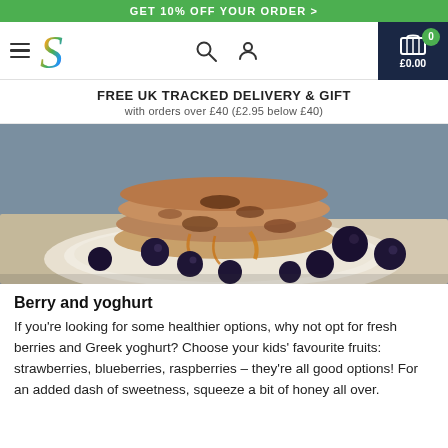GET 10% OFF YOUR ORDER >
[Figure (logo): Navigation bar with hamburger menu, colorful S logo, search icon, user icon, and dark navy cart block showing £0.00]
FREE UK TRACKED DELIVERY & GIFT
with orders over £40 (£2.95 below £40)
[Figure (photo): Stack of blueberry pancakes with syrup and fresh blueberries on a plate with a cloth underneath]
Berry and yoghurt
If you're looking for some healthier options, why not opt for fresh berries and Greek yoghurt? Choose your kids' favourite fruits: strawberries, blueberries, raspberries – they're all good options! For an added dash of sweetness, squeeze a bit of honey all over.